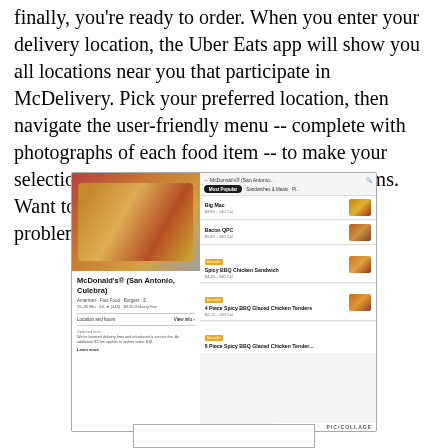finally, you're ready to order. When you enter your delivery location, the Uber Eats app will show you all locations near you that participate in McDelivery. Pick your preferred location, then navigate the user-friendly menu -- complete with photographs of each food item -- to make your selections. You can even customize menu items. Want to add lettuce to your Fillet 'o Fish? No problem!
[Figure (screenshot): Screenshot of the Uber Eats app showing a McDonald's (San Antonio, Culebra) restaurant page with food photos on the left and a menu listing on the right including Big Mac, Bacon QPC, Spicy BBQ Chicken Sandwich, 4 Piece Spicy BBQ Glazed Chicken Tenders, and 6 Piece Spicy BBQ Glazed Chicken Tenders. The image includes a PIC•COLLAGE watermark.]